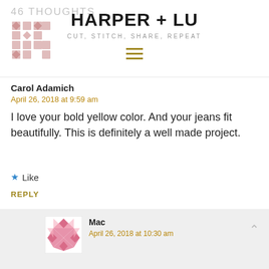46 THOUGHTS
HARPER + LU
CUT, STITCH, SHARE, REPEAT
Carol Adamich
April 26, 2018 at 9:59 am
I love your bold yellow color. And your jeans fit beautifully. This is definitely a well made project.
Like
REPLY
Mac
April 26, 2018 at 10:30 am